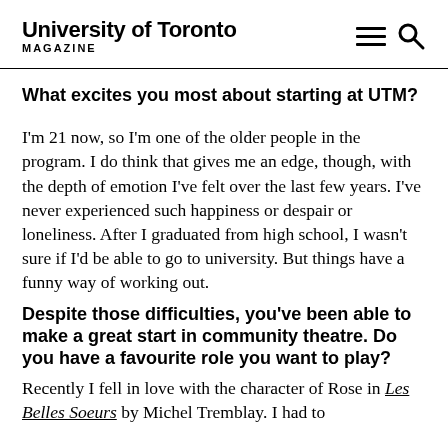University of Toronto MAGAZINE
What excites you most about starting at UTM?
I'm 21 now, so I'm one of the older people in the program. I do think that gives me an edge, though, with the depth of emotion I've felt over the last few years. I've never experienced such happiness or despair or loneliness. After I graduated from high school, I wasn't sure if I'd be able to go to university. But things have a funny way of working out.
Despite those difficulties, you've been able to make a great start in community theatre. Do you have a favourite role you want to play?
Recently I fell in love with the character of Rose in Les Belles Soeurs by Michel Tremblay. I had to